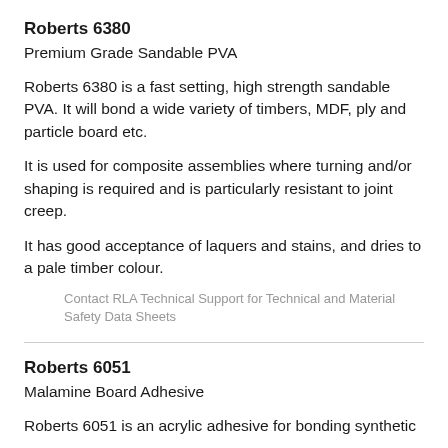Roberts 6380
Premium Grade Sandable PVA
Roberts 6380 is a fast setting, high strength sandable PVA. It will bond a wide variety of timbers, MDF, ply and particle board etc.
It is used for composite assemblies where turning and/or shaping is required and is particularly resistant to joint creep.
It has good acceptance of laquers and stains, and dries to a pale timber colour.
Contact RLA Technical Support for Technical and Material Safety Data Sheets
Roberts 6051
Malamine Board Adhesive
Roberts 6051 is an acrylic adhesive for bonding synthetic